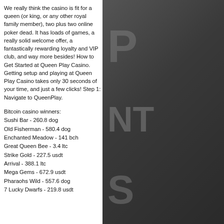We really think the casino is fit for a queen (or king, or any other royal family member), two plus two online poker dead. It has loads of games, a really solid welcome offer, a fantastically rewarding loyalty and VIP club, and way more besides! How to Get Started at Queen Play Casino. Getting setup and playing at Queen Play Casino takes only 30 seconds of your time, and just a few clicks! Step 1: Navigate to QueenPlay.
Bitcoin casino winners:
Sushi Bar - 260.8 dog
Old Fisherman - 580.4 dog
Enchanted Meadow - 141 bch
Great Queen Bee - 3.4 ltc
Strike Gold - 227.5 usdt
Arrival - 388.1 ltc
Mega Gems - 672.9 usdt
Pharaohs Wild - 557.6 dog
7 Lucky Dwarfs - 219.8 usdt